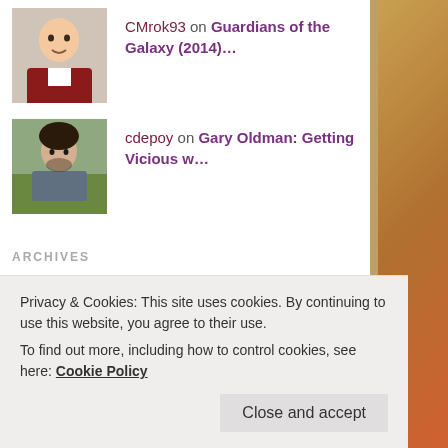CMrok93 on Guardians of the Galaxy (2014)…
cdepoy on Gary Oldman: Getting Vicious w…
ARCHIVES
February 2016
January 2016
December 2015
November 2015
October 2015
March 2015
Privacy & Cookies: This site uses cookies. By continuing to use this website, you agree to their use.
To find out more, including how to control cookies, see here: Cookie Policy
Close and accept